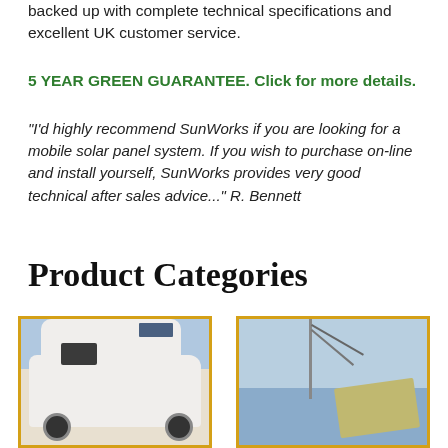backed up with complete technical specifications and excellent UK customer service.
5 YEAR GREEN GUARANTEE. Click for more details.
"I'd highly recommend SunWorks if you are looking for a mobile solar panel system. If you wish to purchase on-line and install yourself, SunWorks provides very good technical after sales advice..." R. Bennett
Product Categories
[Figure (photo): White motorhome/camper van with solar panel on roof, parked outdoors]
[Figure (photo): Sailboat with flexible solar panel mounted on deck/stern, at sea]